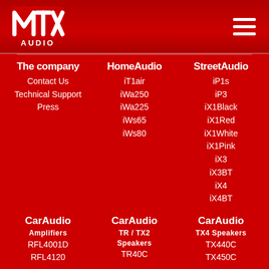[Figure (logo): MTX Audio logo - white text on red background]
The company
Contact Us
Technical Support
Press
HomeAudio
iT1air
iWa250
iWa225
iWs65
iWs80
StreetAudio
iP1s
iP3
iX1Black
iX1Red
iX1White
iX1Pink
iX3
iX3BT
iX4
iX4BT
CarAudio
Amplifiers
RFL4001D
RFL4120
CarAudio
TR / TX2 Speakers
TR40C
CarAudio
TX4 Speakers
TX440C
TX450C